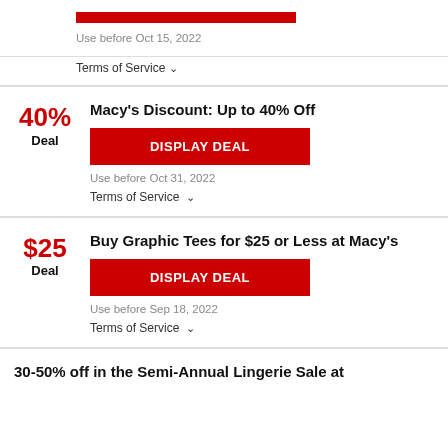Use before Oct 15, 2022
Terms of Service ∨
Macy's Discount: Up to 40% Off
40% Deal
DISPLAY DEAL
Use before Oct 31, 2022
Terms of Service ∨
Buy Graphic Tees for $25 or Less at Macy's
$25 Deal
DISPLAY DEAL
Use before Sep 18, 2022
Terms of Service ∨
30-50% off in the Semi-Annual Lingerie Sale at